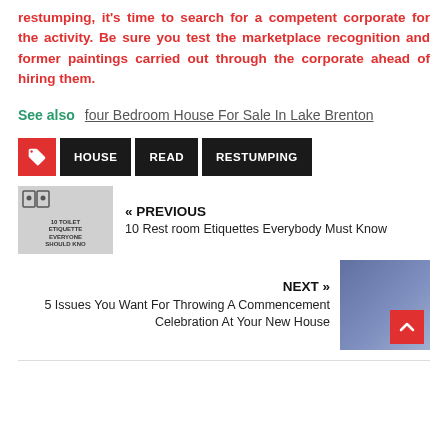restumping, it's time to search for a competent corporate for the activity. Be sure you test the marketplace recognition and former paintings carried out through the corporate ahead of hiring them.
See also   four Bedroom House For Sale In Lake Brenton
HOUSE
READ
RESTUMPING
« PREVIOUS
10 Rest room Etiquettes Everybody Must Know
NEXT »
5 Issues You Want For Throwing A Commencement Celebration At Your New House